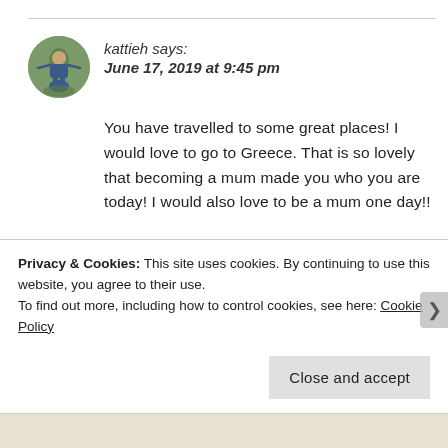[Figure (photo): Circular avatar photo of user kattieh, showing a person with arms spread outdoors on a bridge or walkway with green foliage background]
kattieh says:
June 17, 2019 at 9:45 pm
You have travelled to some great places! I would love to go to Greece. That is so lovely that becoming a mum made you who you are today! I would also love to be a mum one day!!
★ Liked by 3 people
Reply
Privacy & Cookies: This site uses cookies. By continuing to use this website, you agree to their use.
To find out more, including how to control cookies, see here: Cookie Policy
Close and accept